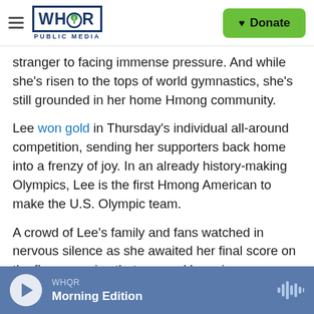WHQR PUBLIC MEDIA | Donate
stranger to facing immense pressure. And while she's risen to the tops of world gymnastics, she's still grounded in her home Hmong community.
Lee won gold in Thursday's individual all-around competition, sending her supporters back home into a frenzy of joy. In an already history-making Olympics, Lee is the first Hmong American to make the U.S. Olympic team.
A crowd of Lee's family and fans watched in nervous silence as she awaited her final score on the floor exercise that secured her win.
WHQR Morning Edition